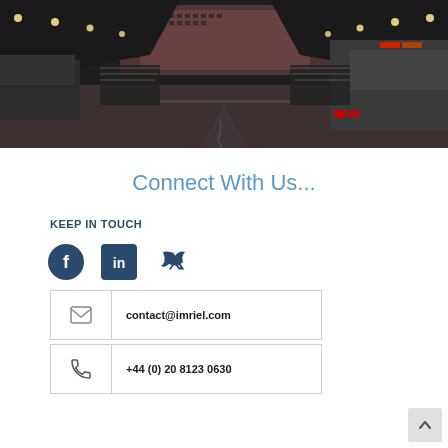[Figure (photo): Urban street/tunnel scene with vehicles parked on sides, buildings visible in background, dark moody atmosphere]
Connect With Us...
KEEP IN TOUCH
[Figure (infographic): Social media icons: Facebook, LinkedIn, Twitter in dark teal color]
contact@imriel.com
+44 (0) 20 8123 0630